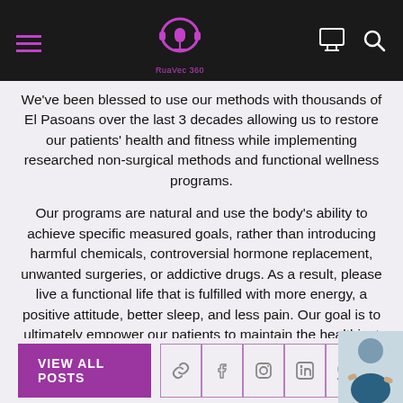RuaVec 360 — Navigation bar with logo, hamburger menu, monitor icon, and search icon
We've been blessed to use our methods with thousands of El Pasoans over the last 3 decades allowing us to restore our patients' health and fitness while implementing researched non-surgical methods and functional wellness programs.
Our programs are natural and use the body's ability to achieve specific measured goals, rather than introducing harmful chemicals, controversial hormone replacement, unwanted surgeries, or addictive drugs. As a result, please live a functional life that is fulfilled with more energy, a positive attitude, better sleep, and less pain. Our goal is to ultimately empower our patients to maintain the healthiest way of living.
With a bit of work, we can achieve optimal health together, regardless of age, ability, or disability.
VIEW ALL POSTS | social icons: link, facebook, instagram, linkedin, twitter